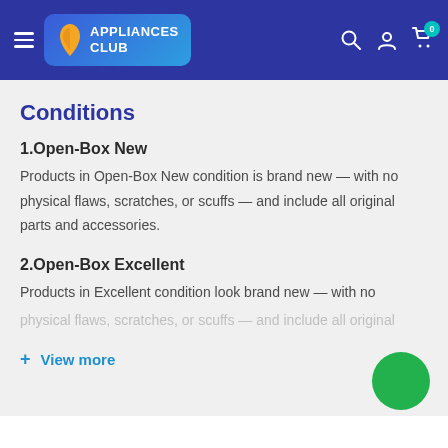APPLIANCES CLUB
Conditions
1.Open-Box New
Products in Open-Box New condition is brand new — with no physical flaws, scratches, or scuffs — and include all original parts and accessories.
2.Open-Box Excellent
Products in Excellent condition look brand new — with no physical flaws, scratches, or scuffs — and include all original
+ View more